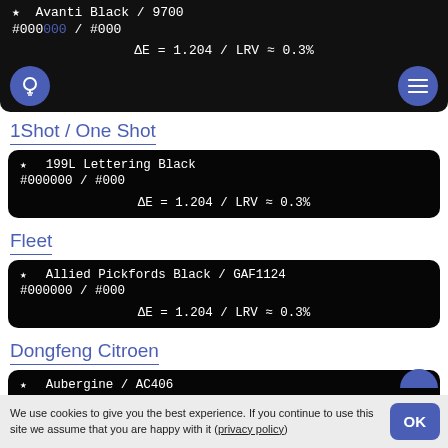Avanti Black / 9700
#000000 / #000
ΔE = 1.204 / LRV ≈ 0.3%
1Shot / One Shot
★ 199L Lettering Black
#000000 / #000
ΔE = 1.204 / LRV ≈ 0.3%
Fleet
★ Allied Pickfords Black / GAF1124
#000000 / #000
ΔE = 1.204 / LRV ≈ 0.3%
Dongfeng Citroen
★ Aubergine / AC406
#020101
ΔE = 1.277 / LRV ≈ 0.3%
We use cookies to give you the best experience. If you continue to use this site we assume that you are happy with it (privacy policy)